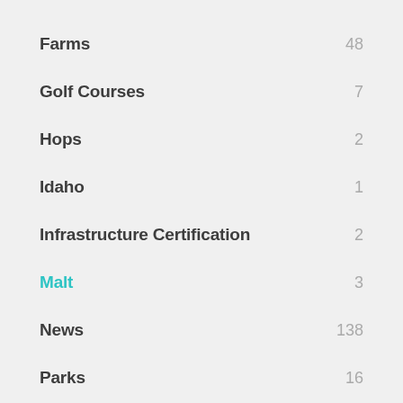Farms    48
Golf Courses    7
Hops    2
Idaho    1
Infrastructure Certification    2
Malt    3
News    138
Parks    16
Puget Sound    17